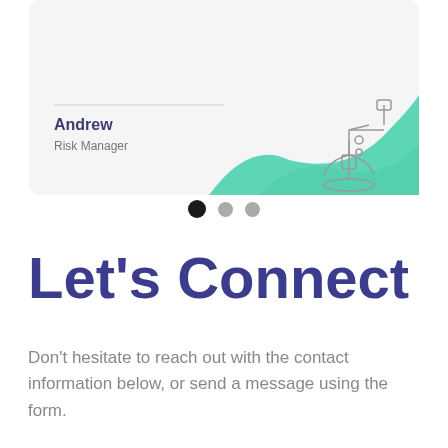[Figure (illustration): A card showing a person named Andrew, Risk Manager, with a decorative teal/mint wave background and a line-art illustration of a robot or camera on top right. Below the card are three pagination dots (first filled black, two grey).]
Let's Connect
Don't hesitate to reach out with the contact information below, or send a message using the form.